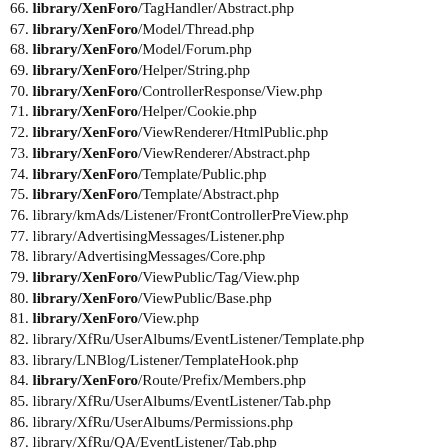66. library/XenForo/TagHandler/Abstract.php
67. library/XenForo/Model/Thread.php
68. library/XenForo/Model/Forum.php
69. library/XenForo/Helper/String.php
70. library/XenForo/ControllerResponse/View.php
71. library/XenForo/Helper/Cookie.php
72. library/XenForo/ViewRenderer/HtmlPublic.php
73. library/XenForo/ViewRenderer/Abstract.php
74. library/XenForo/Template/Public.php
75. library/XenForo/Template/Abstract.php
76. library/kmAds/Listener/FrontControllerPreView.php
77. library/AdvertisingMessages/Listener.php
78. library/AdvertisingMessages/Core.php
79. library/XenForo/ViewPublic/Tag/View.php
80. library/XenForo/ViewPublic/Base.php
81. library/XenForo/View.php
82. library/XfRu/UserAlbums/EventListener/Template.php
83. library/LNBlog/Listener/TemplateHook.php
84. library/XenForo/Route/Prefix/Members.php
85. library/XfRu/UserAlbums/EventListener/Tab.php
86. library/XfRu/UserAlbums/Permissions.php
87. library/XfRu/QA/EventListener/Tab.php
88. library/LNBlog/Listener/NavTab.php
89. library/XenForo/Model/Avatar.php
90. library/XenForo/Route/Prefix/Threads.php
91. library/XenForo/Route/Prefix/Forums.php